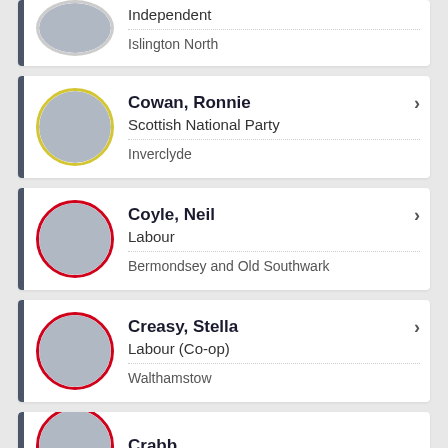Independent | Islington North
Cowan, Ronnie | Scottish National Party | Inverclyde
Coyle, Neil | Labour | Bermondsey and Old Southwark
Creasy, Stella | Labour (Co-op) | Walthamstow
Crabb, ... (partial)